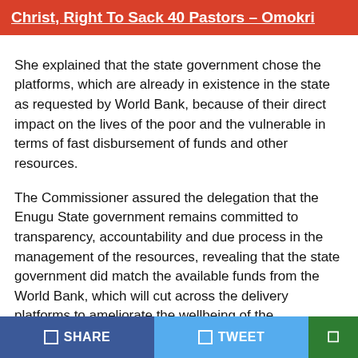Christ, Right To Sack 40 Pastors – Omokri
She explained that the state government chose the platforms, which are already in existence in the state as requested by World Bank, because of their direct impact on the lives of the poor and the vulnerable in terms of fast disbursement of funds and other resources.
The Commissioner assured the delegation that the Enugu State government remains committed to transparency, accountability and due process in the management of the resources, revealing that the state government did match the available funds from the World Bank, which will cut across the delivery platforms to ameliorate the wellbeing of the beneficiaries in the state.
The Special Adviser to the Governor on Agriculture, Engr
SHARE   TWEET